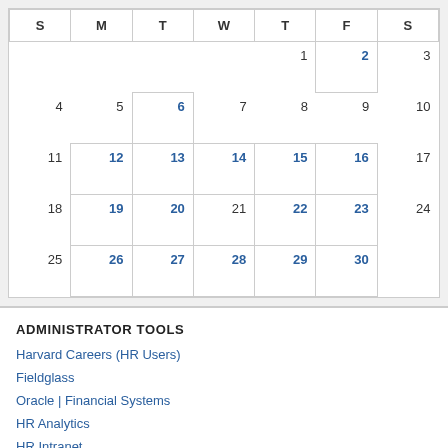| S | M | T | W | T | F | S |
| --- | --- | --- | --- | --- | --- | --- |
|  |  |  |  | 1 | 2 | 3 |
| 4 | 5 | 6 | 7 | 8 | 9 | 10 |
| 11 | 12 | 13 | 14 | 15 | 16 | 17 |
| 18 | 19 | 20 | 21 | 22 | 23 | 24 |
| 25 | 26 | 27 | 28 | 29 | 30 |  |
ADMINISTRATOR TOOLS
Harvard Careers (HR Users)
Fieldglass
Oracle | Financial Systems
HR Analytics
HR Intranet